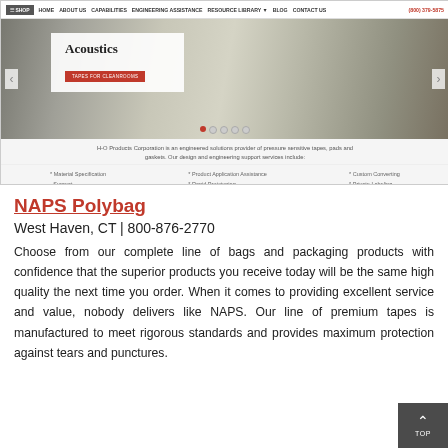[Figure (screenshot): Screenshot of H-O Products Corporation website showing navigation bar with SHOP, HOME, ABOUT US, CAPABILITIES, ENGINEERING ASSISTANCE, RESOURCE LIBRARY, BLOG, CONTACT US, phone number (800) 379-5875, and a hero banner slide showing 'Acoustics / TAPES FOR CLEANROOMS' with laboratory background image and navigation dots and arrows. Below the banner is descriptive text about engineered solutions for pressure sensitive tapes, pads and gaskets, with three columns listing services.]
NAPS Polybag
West Haven, CT  |  800-876-2770
Choose from our complete line of bags and packaging products with confidence that the superior products you receive today will be the same high quality the next time you order. When it comes to providing excellent service and value, nobody delivers like NAPS. Our line of premium tapes is manufactured to meet rigorous standards and provides maximum protection against tears and punctures.